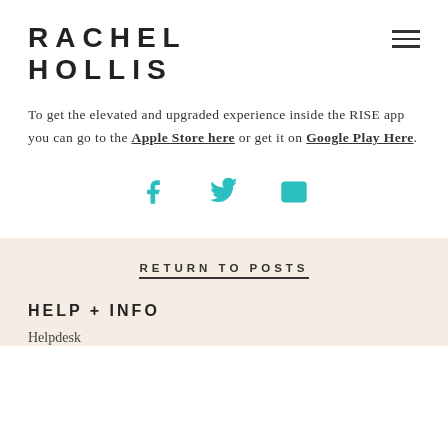RACHEL HOLLIS
To get the elevated and upgraded experience inside the RISE app you can go to the Apple Store here or get it on Google Play Here.
[Figure (other): Social share icons: Facebook (f), Twitter (bird), Email (envelope) in teal color]
RETURN TO POSTS
HELP + INFO
Helpdesk